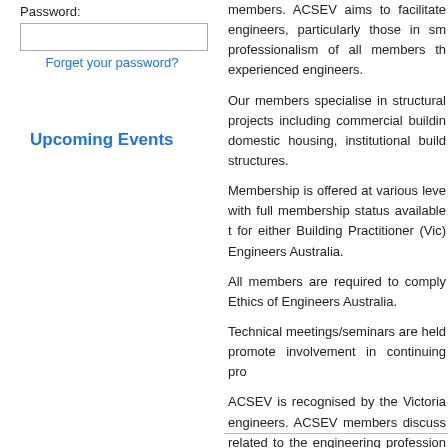Password:
[password input field]
Forget your password?
Upcoming Events
members. ACSEV aims to facilitate engineers, particularly those in sm professionalism of all members th experienced engineers.
Our members specialise in structural projects including commercial buildin domestic housing, institutional buil structures.
Membership is offered at various leve with full membership status available for either Building Practitioner (Vic) Engineers Australia.
All members are required to comply Ethics of Engineers Australia.
Technical meetings/seminars are hel promote involvement in continuing pro
ACSEV is recognised by the Victoria engineers. ACSEV members discuss related to the engineering profession other design engineers.